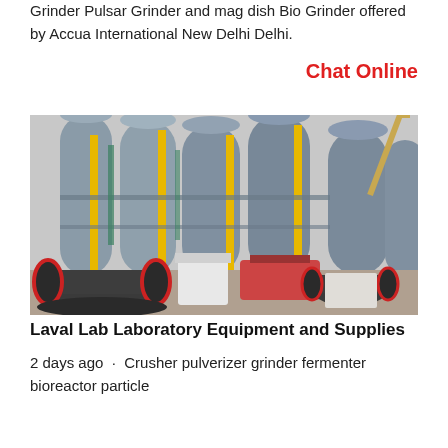Grinder Pulsar Grinder and Mag dish Bio Grinder offered by Accua International New Delhi Delhi.
Chat Online
[Figure (photo): Industrial facility with large cylindrical silos, yellow support columns, and heavy machinery including ball mills and grinding equipment on an outdoor site.]
Laval Lab Laboratory Equipment and Supplies
2 days ago  ·  Crusher pulverizer grinder fermenter bioreactor particle